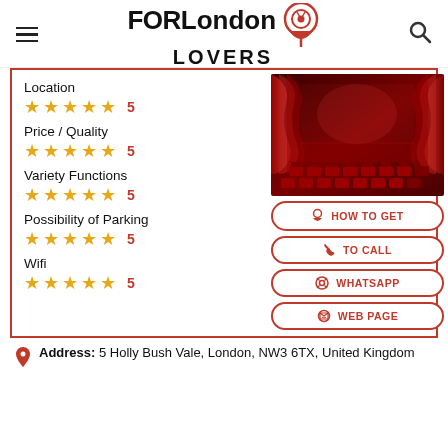FOR London LOVERS
Location ★★★★★ 5
Price / Quality ★★★★★ 5
Variety Functions ★★★★★ 5
Possibility of Parking ★★★★★ 5
Wifi ★★★★★ 5
[Figure (photo): Theater interior with red velvet curtains on stage and red seats in the audience]
HOW TO GET
TO CALL
WHATSAPP
WEB PAGE
Address: 5 Holly Bush Vale, London, NW3 6TX, United Kingdom